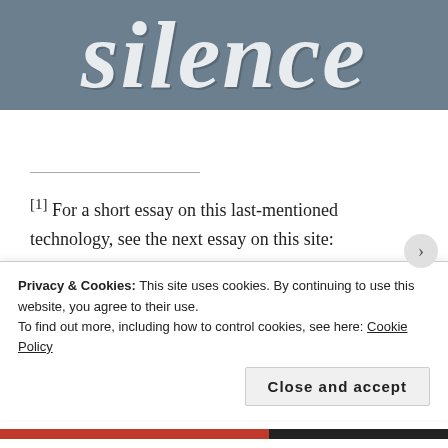[Figure (other): Header banner with large distressed italic text reading 'silence' on a steel blue/grey background]
[1] For a short essay on this last-mentioned technology, see the next essay on this site: “Substrate-Neutrality, Nano Tech, and ET.”
[2] Again, see the following essay linked to above...
Privacy & Cookies: This site uses cookies. By continuing to use this website, you agree to their use. To find out more, including how to control cookies, see here: Cookie Policy
Close and accept